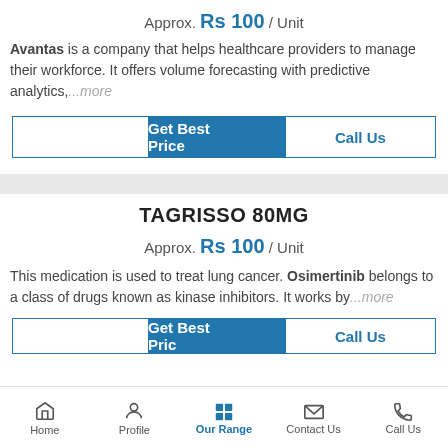Approx. Rs 100 / Unit
Avantas is a company that helps healthcare providers to manage their workforce. It offers volume forecasting with predictive analytics,...more
TAGRISSO 80MG
Approx. Rs 100 / Unit
This medication is used to treat lung cancer. Osimertinib belongs to a class of drugs known as kinase inhibitors. It works by...more
Home | Profile | Our Range | Contact Us | Call Us